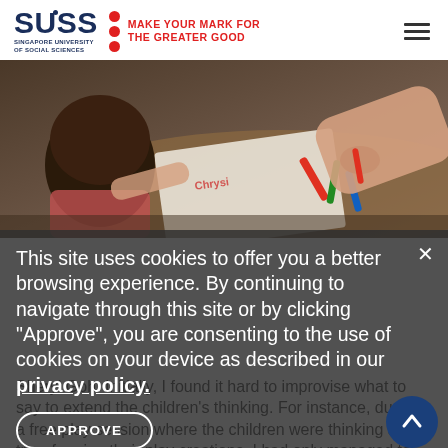SUSS SINGAPORE UNIVERSITY OF SOCIAL SCIENCES — MAKE YOUR MARK FOR THE GREATER GOOD
[Figure (photo): Overhead view of an adult and child drawing/writing together at a table with crayons and markers]
This site uses cookies to offer you a better browsing experience. By continuing to navigate through this site or by clicking "Approve", you are consenting to the use of cookies on your device as described in our privacy policy.
Sheryl Goh: Initially, I found it hard to improvise what to say to extend the children's thinking. For instance, during a free play session where the children were thinking about transforming their play creations, I had only managed to